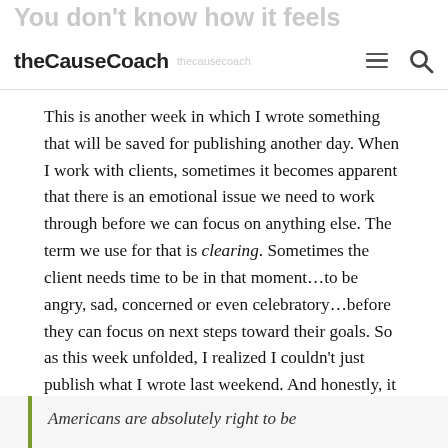You don't know how it feels
theCauseCoach
This is another week in which I wrote something that will be saved for publishing another day. When I work with clients, sometimes it becomes apparent that there is an emotional issue we need to work through before we can focus on anything else. The term we use for that is clearing. Sometimes the client needs time to be in that moment…to be angry, sad, concerned or even celebratory…before they can focus on next steps toward their goals. So as this week unfolded, I realized I couldn't just publish what I wrote last weekend. And honestly, it has taken me all week to process my emotions.
Americans are absolutely right to be